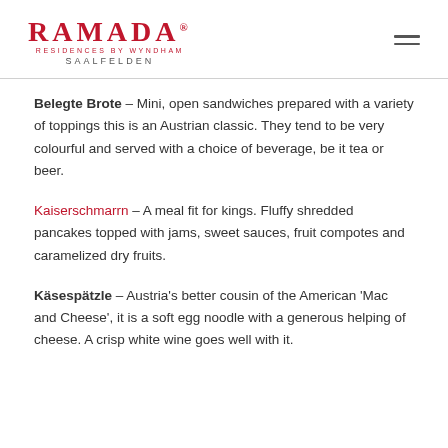Ramada Residences by Wyndham Saalfelden
Belegte Brote – Mini, open sandwiches prepared with a variety of toppings this is an Austrian classic. They tend to be very colourful and served with a choice of beverage, be it tea or beer.
Kaiserschmarrn – A meal fit for kings. Fluffy shredded pancakes topped with jams, sweet sauces, fruit compotes and caramelized dry fruits.
Käsespätzle – Austria's better cousin of the American 'Mac and Cheese', it is a soft egg noodle with a generous helping of cheese. A crisp white wine goes well with it.